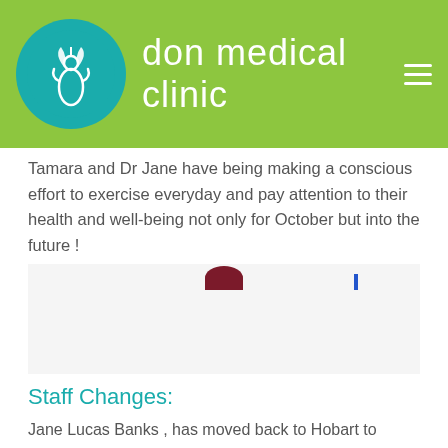Don Medical Clinic
Tamara and Dr Jane have being making a conscious effort to exercise everyday and pay attention to their health and well-being not only for October but into the future !
[Figure (photo): Partially visible photograph, cropped at top showing small portions of people or subjects with a maroon curved element and a blue vertical element visible.]
Staff Changes:
Jane Lucas Banks , has moved back to Hobart to further her career and to be with her daughter Laura. The DMC team would like to acknowledge the integral part that Jane LB played since late 2018